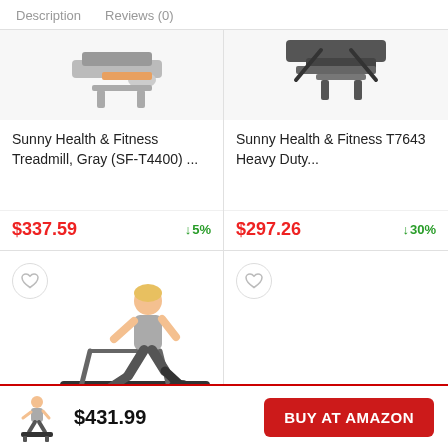Description   Reviews (0)
Sunny Health & Fitness Treadmill, Gray (SF-T4400) ...
$337.59  ↓5%
Sunny Health & Fitness T7643 Heavy Duty...
$297.26  ↓30%
[Figure (photo): Person running on a treadmill (bottom-left product card)]
$431.99
BUY AT AMAZON